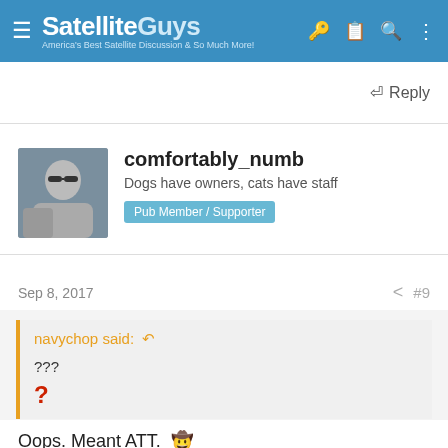SatelliteGuys — America's Best Satellite Discussion & So Much More!
Reply
comfortably_numb
Dogs have owners, cats have staff
Pub Member / Supporter
Sep 8, 2017  #9
navychop said:
???
?
Oops. Meant ATT. 🤠